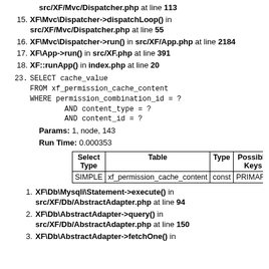src/XF/Mvc/Dispatcher.php at line 113
15. XF\Mvc\Dispatcher->dispatchLoop() in src/XF/Mvc/Dispatcher.php at line 55
16. XF\Mvc\Dispatcher->run() in src/XF/App.php at line 2184
17. XF\App->run() in src/XF.php at line 391
18. XF::runApp() in index.php at line 20
23. SELECT cache_value FROM xf_permission_cache_content WHERE permission_combination_id = ? AND content_type = ? AND content_id = ?
Params: 1, node, 143
Run Time: 0.000353
| Select Type | Table | Type | Possible Keys | Ke |
| --- | --- | --- | --- | --- |
| SIMPLE | xf_permission_cache_content | const | PRIMARY | PR |
1. XF\Db\Mysqli\Statement->execute() in src/XF/Db/AbstractAdapter.php at line 94
2. XF\Db\AbstractAdapter->query() in src/XF/Db/AbstractAdapter.php at line 150
3. XF\Db\AbstractAdapter->fetchOne() in